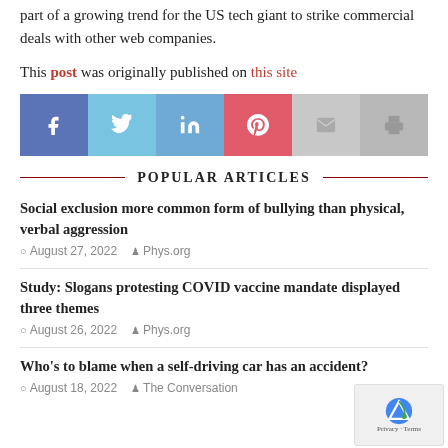part of a growing trend for the US tech giant to strike commercial deals with other web companies.
This post was originally published on this site
[Figure (infographic): Social media sharing bar with icons for Facebook, Twitter, LinkedIn, Pinterest, Email, and Print]
POPULAR ARTICLES
Social exclusion more common form of bullying than physical, verbal aggression
August 27, 2022  Phys.org
Study: Slogans protesting COVID vaccine mandate displayed three themes
August 26, 2022  Phys.org
Who’s to blame when a self-driving car has an accident?
August 18, 2022  The Conversation